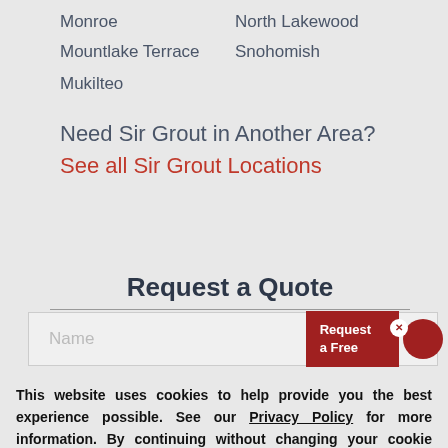Monroe
North Lakewood
Mountlake Terrace
Snohomish
Mukilteo
Need Sir Grout in Another Area? See all Sir Grout Locations
Request a Quote
Name
Request a Free
This website uses cookies to help provide you the best experience possible. See our Privacy Policy for more information. By continuing without changing your cookie settings within your browser, you are agreeing to our use of cookies.
ACCEPT